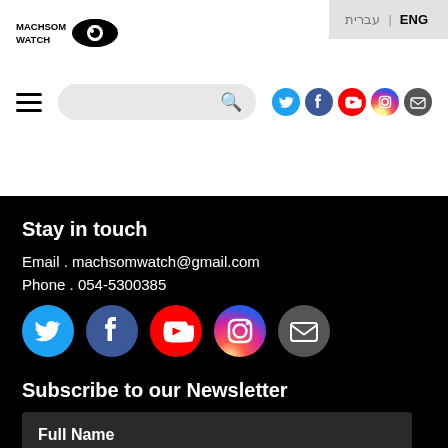MACHSOM WATCH | ENG / עברית — navigation header with search and social icons
Stay in touch
Email . machsomwatch@gmail.com
Phone . 054-5300385
[Figure (infographic): Row of 5 social media icon circles: Twitter (blue), Facebook (blue), YouTube (red), Instagram (gradient pink/orange), Email (gray)]
Subscribe to our Newsletter
Full Name